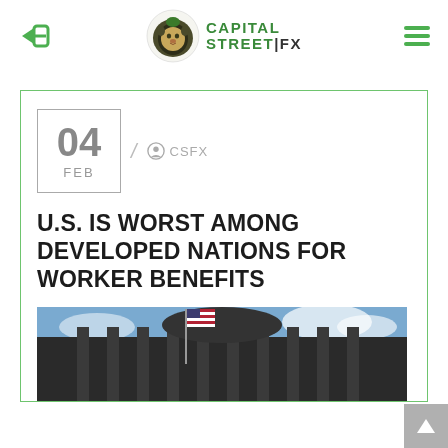[Figure (logo): Capital Street FX logo with lion head icon and green text]
04 FEB / CSFX
U.S. IS WORST AMONG DEVELOPED NATIONS FOR WORKER BENEFITS
[Figure (photo): Photo of US government building with American flag and blue cloudy sky]